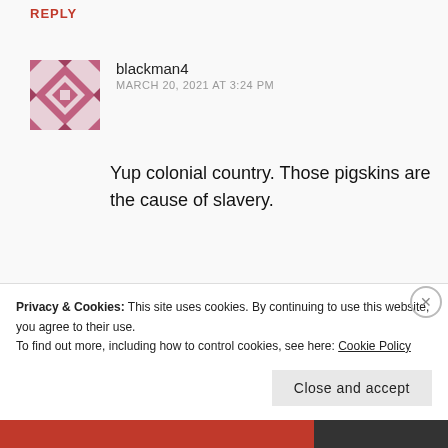REPLY
blackman4
MARCH 20, 2021 AT 3:24 PM
Yup colonial country. Those pigskins are the cause of slavery.
★ Like
blackman4
MARCH 20, 2021 AT 3:27 PM
Privacy & Cookies: This site uses cookies. By continuing to use this website, you agree to their use. To find out more, including how to control cookies, see here: Cookie Policy
Close and accept